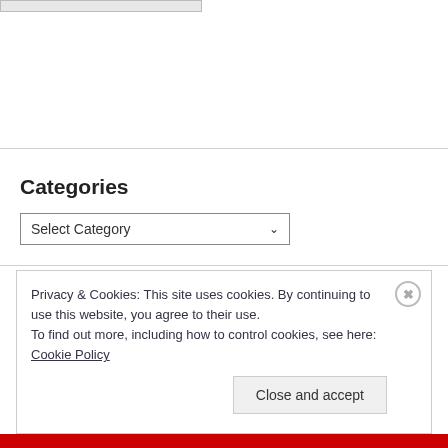[Figure (logo): Small logo or image in top left corner]
Categories
Select Category
Privacy & Cookies: This site uses cookies. By continuing to use this website, you agree to their use.
To find out more, including how to control cookies, see here: Cookie Policy
Close and accept